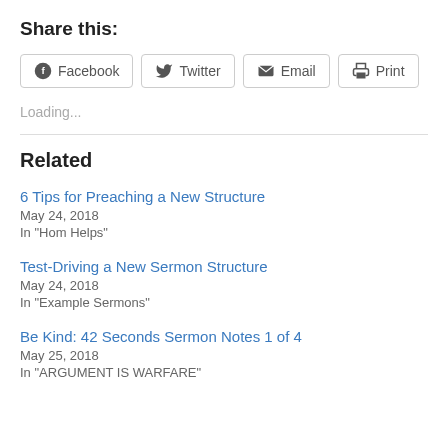Share this:
Facebook  Twitter  Email  Print
Loading...
Related
6 Tips for Preaching a New Structure
May 24, 2018
In "Hom Helps"
Test-Driving a New Sermon Structure
May 24, 2018
In "Example Sermons"
Be Kind: 42 Seconds Sermon Notes 1 of 4
May 25, 2018
In "ARGUMENT IS WARFARE"